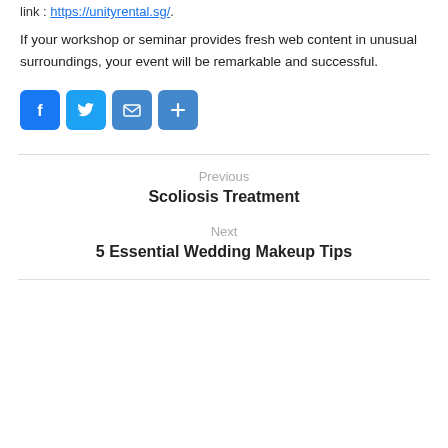link : https://unityrental.sg/.
If your workshop or seminar provides fresh web content in unusual surroundings, your event will be remarkable and successful.
[Figure (infographic): Row of four social share buttons: Facebook (blue F icon), Twitter (blue bird icon), Email (blue envelope icon), More (blue plus icon)]
Previous
Scoliosis Treatment
Next
5 Essential Wedding Makeup Tips